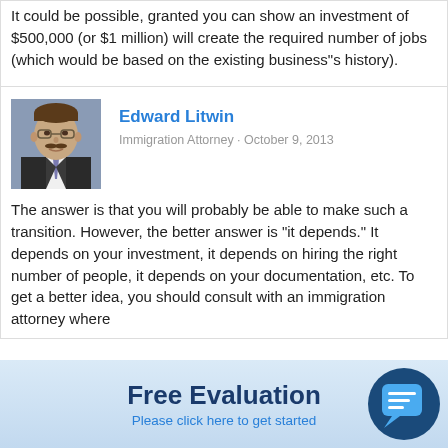It could be possible, granted you can show an investment of $500,000 (or $1 million) will create the required number of jobs (which would be based on the existing business"s history).
Edward Litwin
Immigration Attorney · October 9, 2013
The answer is that you will probably be able to make such a transition. However, the better answer is "it depends." It depends on your investment, it depends on hiring the right number of people, it depends on your documentation, etc. To get a better idea, you should consult with an immigration attorney where
Free Evaluation
Please click here to get started